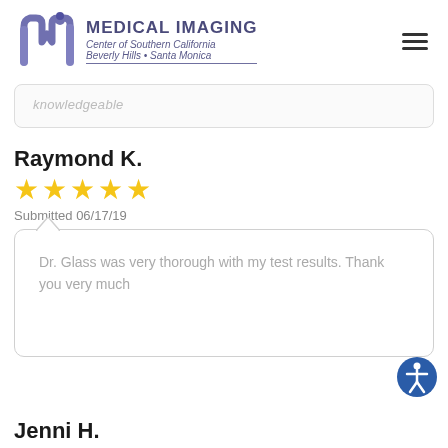[Figure (logo): Medical Imaging Center of Southern California logo with stylized Mi icon, text reading MEDICAL IMAGING Center of Southern California Beverly Hills • Santa Monica]
knowledgeable
Raymond K.
[Figure (other): 5 yellow star rating]
Submitted 06/17/19
Dr. Glass was very thorough with my test results. Thank you very much
Jenni H.